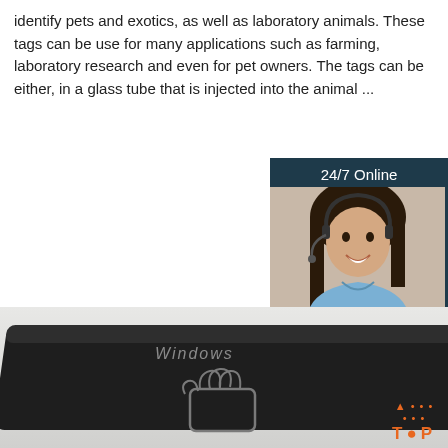identify pets and exotics, as well as laboratory animals. These tags can be use for many applications such as farming, laboratory research and even for pet owners. The tags can be either, in a glass tube that is injected into the animal ...
[Figure (other): Orange 'Get Price' button]
[Figure (other): 24/7 Online chat widget with photo of woman wearing headset, 'Click here for free chat!' text, and orange QUOTATION button]
[Figure (photo): Black USB RFID reader device labeled 'Windows' with hand/card tap icon and 'FC' logo, photographed on light grey background. Orange TOP badge with dots in bottom right corner.]